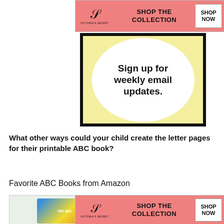[Figure (screenshot): Victoria's Secret advertisement banner at top — pink background with VS logo, 'SHOP THE COLLECTION' text, and 'SHOP NOW' button]
[Figure (screenshot): Yellow signup box with black border containing a white circle and bold text 'Sign up for weekly email updates.']
What other ways could your child create the letter pages for their printable ABC book?
Favorite ABC Books from Amazon
[Figure (screenshot): Two book thumbnail images side by side, bottom portion of page, partially overlaid by Victoria's Secret ad with CLOSE button visible]
[Figure (screenshot): Victoria's Secret advertisement banner at bottom — pink background with VS logo, 'SHOP THE COLLECTION' text, and 'SHOP NOW' button]